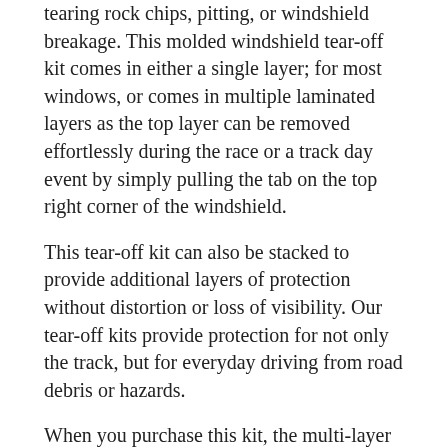tearing rock chips, pitting, or windshield breakage. This molded windshield tear-off kit comes in either a single layer; for most windows, or comes in multiple laminated layers as the top layer can be removed effortlessly during the race or a track day event by simply pulling the tab on the top right corner of the windshield.
This tear-off kit can also be stacked to provide additional layers of protection without distortion or loss of visibility. Our tear-off kits provide protection for not only the track, but for everyday driving from road debris or hazards.
When you purchase this kit, the multi-layer tear-off kit has been molded and cut to fit your windshield.
For best installation we recommend purchasing our Do It Yourself Windshield Tear-Off Installation Tool kit, comes with the tools needed to install your molded windshield tear-off kit. Link below:
https://...